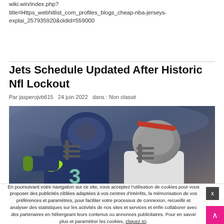wiki.win/index.php?title=Https_webhitlist_com_profiles_blogs_cheap-nba-jerseys-explai_257935920&oldid=559000
Jets Schedule Updated After Historic Nfl Lockout
Par jasperojvb615   24 juin 2022   dans : Non classé
[Figure (photo): Two NFL football players in helmets, one in a dark blue Seahawks jersey with number 3 and a lime green Nike logo, the other in a gray/white Buccaneers helmet, in close contact during a game.]
En poursuivant votre navigation sur ce site, vous acceptez l'utilisation de cookies pour vous proposer des publicités ciblées adaptées à vos centres d'intérêts, la mémorisation de vos préférences et paramètres, pour faciliter votre processus de connexion, recueillir et analyser des statistiques sur les activités de nos sites et services et enfin collaborer avec des partenaires en hébergeant leurs contenus ou annonces publicitaires. Pour en savoir plus et paramétrer les cookies, cliquez ici.